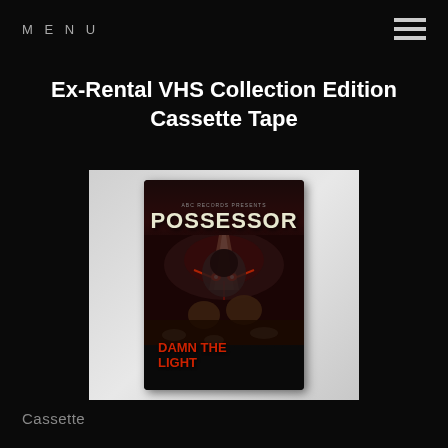MENU
Ex-Rental VHS Collection Edition Cassette Tape
[Figure (photo): A VHS cassette tape case featuring 'POSSESSOR' branding with horror artwork showing a dark figure with glowing red eyes and text 'DAMN THE LIGHT' at the bottom, displayed against a light grey background.]
Cassette